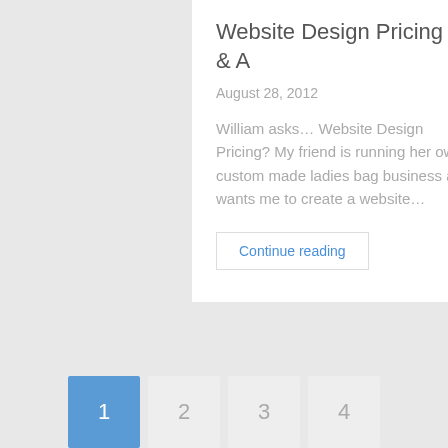Website Design Pricing Q & A
August 28, 2012
William asks… Website Design Pricing? My friend is running her own custom made ladies bag business and wants me to create a website…
Continue reading
1  2  3  4